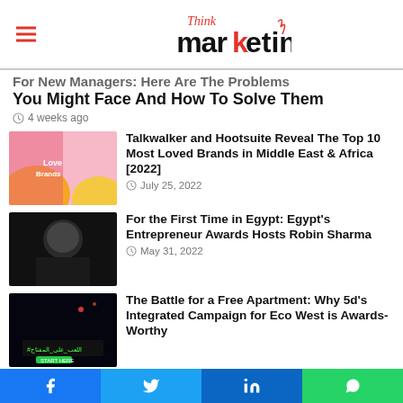Think marketing
For New Managers: Here Are The Problems You Might Face And How To Solve Them
4 weeks ago
[Figure (photo): Love Brands colorful graphic with heart logo]
Talkwalker and Hootsuite Reveal The Top 10 Most Loved Brands in Middle East & Africa [2022]
July 25, 2022
[Figure (photo): Black and white portrait photo of a bald man in dark shirt]
For the First Time in Egypt: Egypt's Entrepreneur Awards Hosts Robin Sharma
May 31, 2022
[Figure (photo): Dark night scene with Arabic text and hashtag]
The Battle for a Free Apartment: Why 5d's Integrated Campaign for Eco West is Awards-Worthy
Facebook Twitter LinkedIn WhatsApp